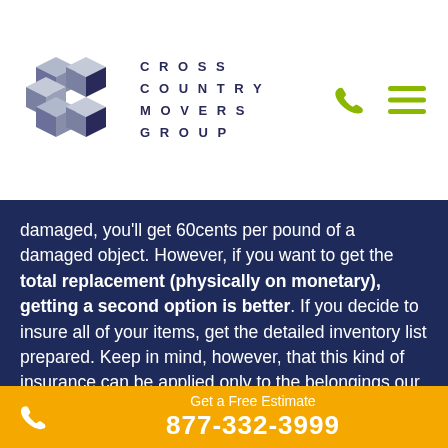[Figure (logo): Cross Country Movers Group logo with geometric cubic CCM mark in dark navy/grey and company name in uppercase spaced letters]
damaged, you'll get 60cents per pound of a damaged object. However, if you want to get the total replacement (physically on monetary), getting a second option is better. If you decide to insure all of your items, get the detailed inventory list prepared. Keep in mind, however, that this kind of insurance can be applied only to the belongings our team had packed.

Are you planning on getting our auto transport? If so, know that your vehicle will also be insured, but that the
Get a Free Estimate 877-332-3999